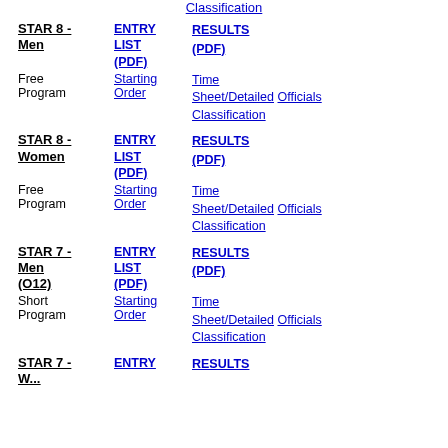Classification (link at top)
STAR 8 - Men | ENTRY LIST (PDF) | RESULTS (PDF)
Free Program | Starting Order | Time Sheet/Detailed | Officials | Classification
STAR 8 - Women | ENTRY LIST (PDF) | RESULTS (PDF)
Free Program | Starting Order | Time Sheet/Detailed | Officials | Classification
STAR 7 - Men (O12) | ENTRY LIST (PDF) | RESULTS (PDF)
Short Program | Starting Order | Time Sheet/Detailed | Officials | Classification
STAR 7 - Women | ENTRY | RESULTS